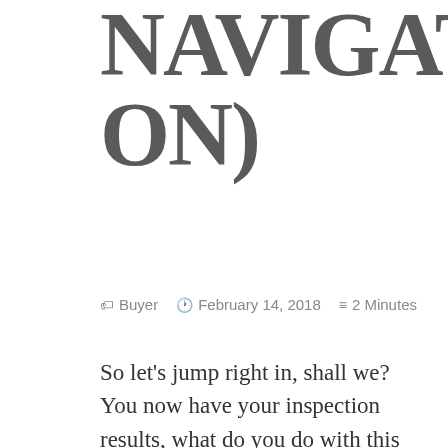NAVIGATION)
🏷 Buyer  🕐 February 14, 2018  ≡ 2 Minutes
So let's jump right in, shall we?  You now have your inspection results, what do you do with this new information?  Welcome to part five in the